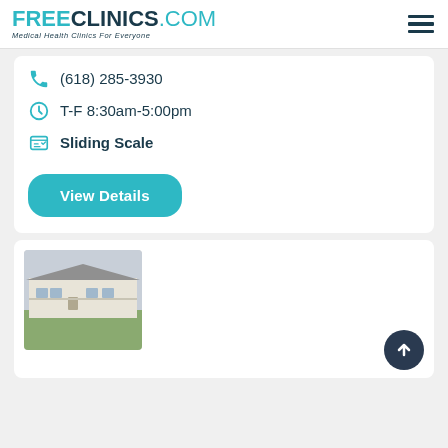FREECLINICS.COM Medical Health Clinics For Everyone
(618) 285-3930
T-F 8:30am-5:00pm
Sliding Scale
View Details
[Figure (photo): Exterior photo of a single-story clinic building with a grey roof and white/beige walls, windows visible on the front facade, overcast sky in background.]